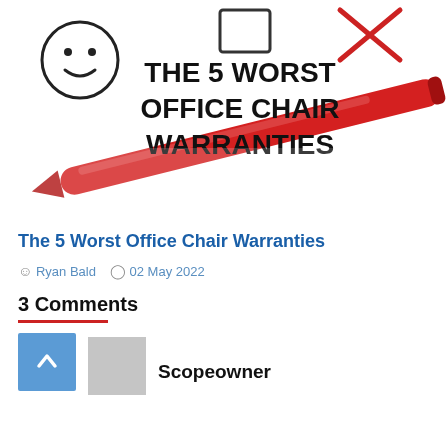[Figure (photo): Hero image showing a red marker pen on white paper with bold text reading 'THE 5 WORST OFFICE CHAIR WARRANTIES', with a smiley face drawing and checkmark/X marks in the background]
The 5 Worst Office Chair Warranties
Ryan Bald   02 May 2022
3 Comments
Scopeowner